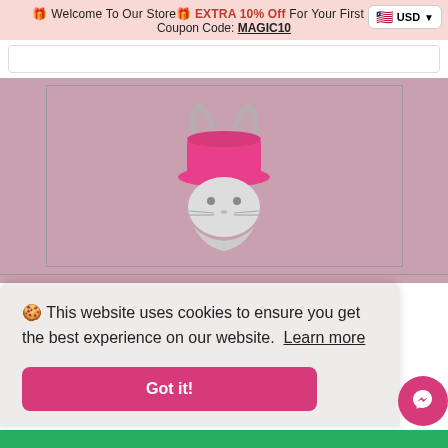🎁 Welcome To Our Store🎁 EXTRA 10% Off For Your First ORDER. Coupon Code: MAGIC10
[Figure (logo): Rabbit wearing a pink magician hat logo on pink background]
🍪 This website uses cookies to ensure you get the best experience on our website. Learn more
Got it!